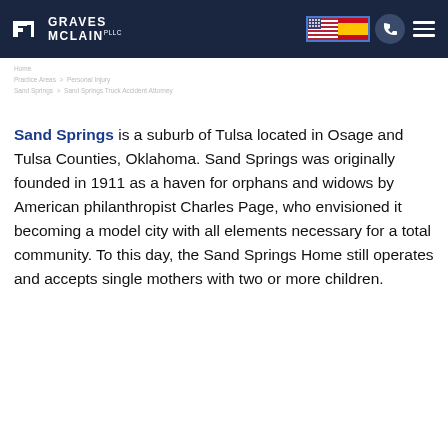Graves McLain PLLC
Sand Springs is a suburb of Tulsa located in Osage and Tulsa Counties, Oklahoma. Sand Springs was originally founded in 1911 as a haven for orphans and widows by American philanthropist Charles Page, who envisioned it becoming a model city with all elements necessary for a total community. To this day, the Sand Springs Home still operates and accepts single mothers with two or more children.